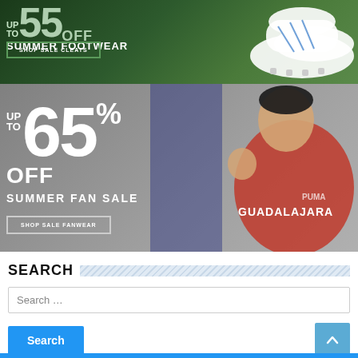[Figure (infographic): Banner ad showing 'up to 55% OFF SUMMER FOOTWEAR' with a SHOP SALE CLEATS button and a soccer/football cleat shoe on a grass background]
[Figure (infographic): Banner ad showing 'UP TO 65% OFF SUMMER FAN SALE' with a SHOP SALE FANWEAR button and a man wearing a Guadalajara Puma soccer jersey making an OK gesture]
SEARCH
Search …
Search